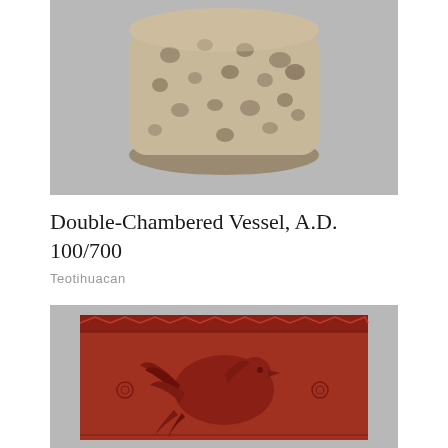[Figure (photo): Photograph of a Double-Chambered Vessel artifact from Teotihuacan, A.D. 100/700. The vessel appears rounded and cylindrical with a rough, pitted stone or ceramic surface in beige/tan tones with darker spots, photographed against a gray background.]
Double-Chambered Vessel, A.D. 100/700
Teotihuacan
[Figure (photo): Photograph of a red ceramic plaque or tile artifact with carved/incised decorations showing a bird (possibly an eagle or feathered creature) with intricate feather patterns, bordered by geometric designs including zigzag patterns at the top. The artifact is deep red/terracotta colored against a gray background.]